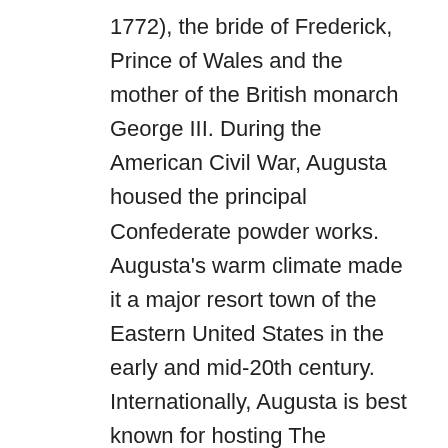1772), the bride of Frederick, Prince of Wales and the mother of the British monarch George III. During the American Civil War, Augusta housed the principal Confederate powder works. Augusta's warm climate made it a major resort town of the Eastern United States in the early and mid-20th century. Internationally, Augusta is best known for hosting The Masters golf tournament each spring. The Masters brings over 200,000 visitors from around the world to the Augusta National Golf Club. Membership at Augusta National is widely considered to be the most exclusive in the sport of golf around the world.
Augusta lies approximately two hours east of downtown Atlanta by car via I-20. The city is home to Fort Gordon, a major U.S. Army base. In 2016, it